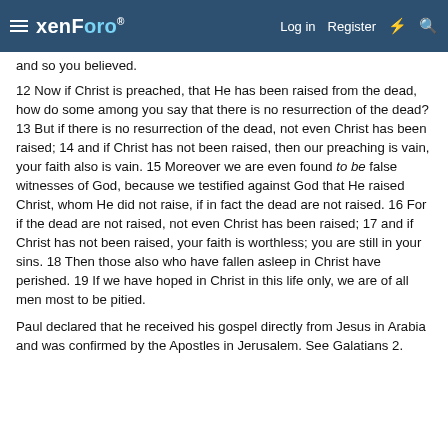xenForo — Log in | Register
and so you believed.
12 Now if Christ is preached, that He has been raised from the dead, how do some among you say that there is no resurrection of the dead? 13 But if there is no resurrection of the dead, not even Christ has been raised; 14 and if Christ has not been raised, then our preaching is vain, your faith also is vain. 15 Moreover we are even found to be false witnesses of God, because we testified against God that He raised Christ, whom He did not raise, if in fact the dead are not raised. 16 For if the dead are not raised, not even Christ has been raised; 17 and if Christ has not been raised, your faith is worthless; you are still in your sins. 18 Then those also who have fallen asleep in Christ have perished. 19 If we have hoped in Christ in this life only, we are of all men most to be pitied.
Paul declared that he received his gospel directly from Jesus in Arabia and was confirmed by the Apostles in Jerusalem. See Galatians 2.